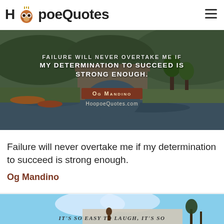HoopoeQuotes
[Figure (photo): Scenic river/lake landscape with stone bridge arch and boats, with motivational quote overlay: 'FAILURE WILL NEVER OVERTAKE ME IF MY DETERMINATION TO SUCCEED IS STRONG ENOUGH.' attributed to Og Mandino, with HoopoeQuotes.com watermark]
Failure will never overtake me if my determination to succeed is strong enough.
Og Mandino
[Figure (photo): Partially visible image of outdoor scene with blue sky and beginning of text 'IT'S SO EASY TO LAUGH, IT'S SO']